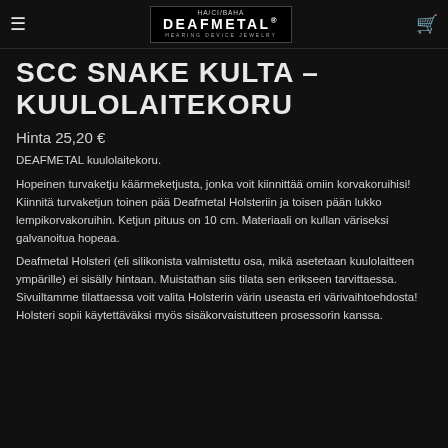HA/CI/BAHA DEAFMETAL HEARING DEVICE JEWELRY
SCC SNAKE KULTA – KUULOLAITEKORU
Hinta 25,20 €
DEAFMETAL kuulolaitekoru.
Hopeinen turvaketju käärmeketjusta, jonka voit kiinnittää omiin korvakoruihisi! Kiinnitä turvaketjun toinen pää Deafmetal Holsteriin ja toisen pään lukko lempikorvakoruihin. Ketjun pituus on 10 cm. Materiaali on kullan väriseksi galvanoitua hopeaa.
Deafmetal Holsteri (eli silikonista valmistettu osa, mikä asetetaan kuulolaitteen ympärille) ei sisälly hintaan. Muistathan siis tilata sen erikseen tarvittaessa. Sivuiltamme tilattaessa voit valita Holsterin värin useasta eri värivaihtoehdosta! Holsteri sopii käytettäväksi myös sisäkorvaistutteen prosessorin kanssa.